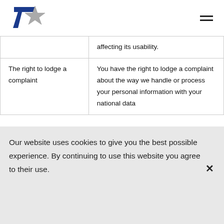7Star logo and navigation menu
|  | affecting its usability. |
| The right to lodge a complaint | You have the right to lodge a complaint about the way we handle or process your personal information with your national data |
Our website uses cookies to give you the best possible experience. By continuing to use this website you agree to their use.